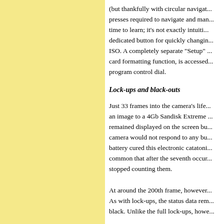(but thankfully with circular navigation, presses required to navigate and manage; time to learn; it's not exactly intuitive; dedicated button for quickly changing ISO. A completely separate "Setup" card formatting function, is accessed program control dial.
Lock-ups and black-outs
Just 33 frames into the camera's life an image to a 4Gb Sandisk Extreme remained displayed on the screen but camera would not respond to any battery cured this electronic catatonic common that after the seventh occurrence stopped counting them.
At around the 200th frame, however, As with lock-ups, the status data remaining black. Unlike the full lock-ups, however